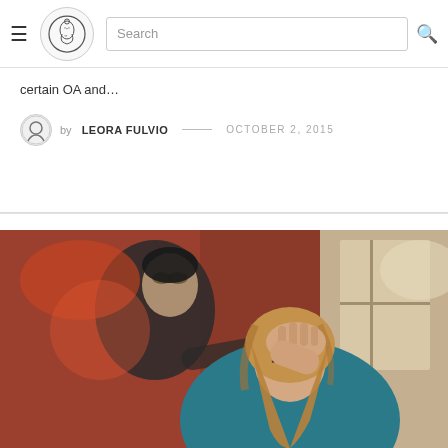Navigation bar with hamburger menu, site logo, and search box
certain OA and…
by LEORA FULVIO — OCTOBER 2, 2015
[Figure (photo): A woman in a teal top with her hand raised to her head in a stressed or distressed pose, with a man in a dark shirt in the background leaning toward her, taken in what appears to be an indoor restaurant or cafe setting with red walls and a window.]